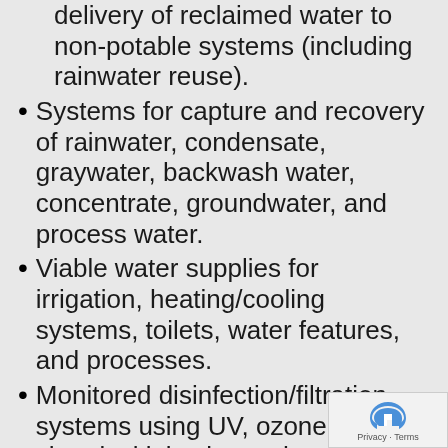delivery of reclaimed water to non-potable systems (including rainwater reuse).
Systems for capture and recovery of rainwater, condensate, graywater, backwash water, concentrate, groundwater, and process water.
Viable water supplies for irrigation, heating/cooling systems, toilets, water features, and processes.
Monitored disinfection/filtration systems using UV, ozone, and chemical injection technologies.
Qualified Long Island professionals to simplify system design, purchasing, installation, commissioning, and maintenance.
Knowledge and experience from hundreds of installations.